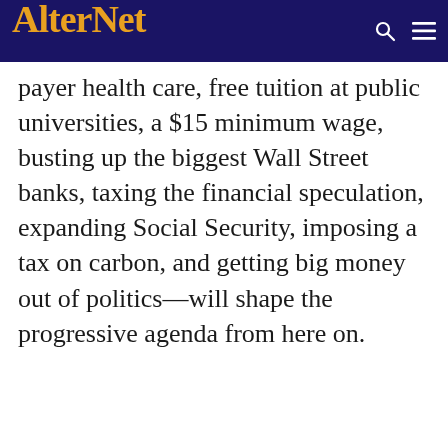AlterNet
payer health care, free tuition at public universities, a $15 minimum wage, busting up the biggest Wall Street banks, taxing the financial speculation, expanding Social Security, imposing a tax on carbon, and getting big money out of politics—will shape the progressive agenda from here on.